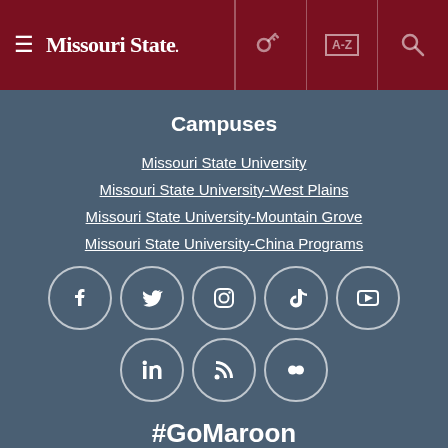Missouri State
Campuses
Missouri State University
Missouri State University-West Plains
Missouri State University-Mountain Grove
Missouri State University-China Programs
[Figure (infographic): Social media icons in circles: Facebook, Twitter, Instagram, TikTok, YouTube, LinkedIn, RSS, Flickr]
#GoMaroon